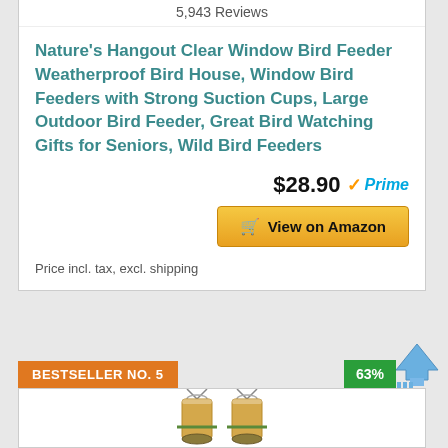5,943 Reviews
Nature's Hangout Clear Window Bird Feeder Weatherproof Bird House, Window Bird Feeders with Strong Suction Cups, Large Outdoor Bird Feeder, Great Bird Watching Gifts for Seniors, Wild Bird Feeders
$28.90 ✓Prime
View on Amazon
Price incl. tax, excl. shipping
BESTSELLER NO. 5
63%
[Figure (photo): Two cylindrical bird feeders with metal hangers and green perches filled with seed, shown side by side]